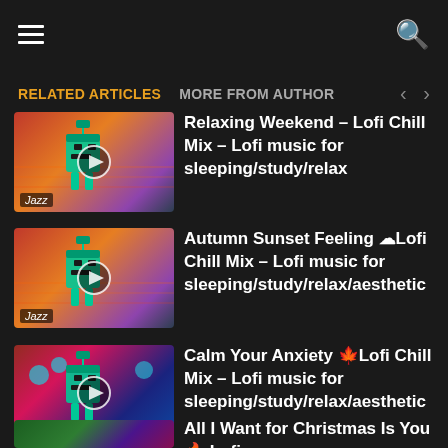≡ [hamburger menu] [search icon]
RELATED ARTICLES   MORE FROM AUTHOR
[Figure (screenshot): Thumbnail image of jazz lofi robot character against sunset background]
Relaxing Weekend – Lofi Chill Mix – Lofi music for sleeping/study/relax
[Figure (screenshot): Thumbnail image of jazz lofi robot character against sunset background]
Autumn Sunset Feeling ☁Lofi Chill Mix – Lofi music for sleeping/study/relax/aesthetic
[Figure (screenshot): Thumbnail image of jazz lofi robot character against colorful night background]
Calm Your Anxiety 🍁Lofi Chill Mix – Lofi music for sleeping/study/relax/aesthetic
[Figure (screenshot): Thumbnail image of lofi scene with Christmas setting]
All I Want for Christmas Is You 🔥 Lofi